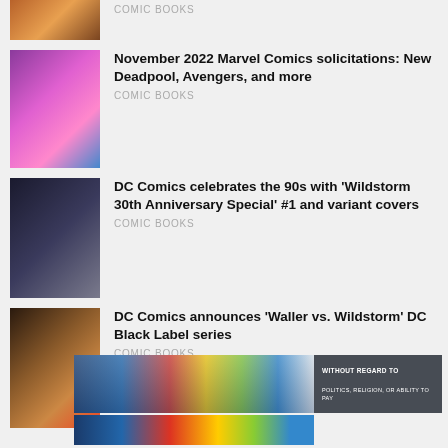[Figure (photo): Partial comic book cover image, cropped at top]
COMIC BOOKS
[Figure (photo): Marvel Comics cover collage with purple and pink tones]
November 2022 Marvel Comics solicitations: New Deadpool, Avengers, and more
COMIC BOOKS
[Figure (photo): DC Comics Wildstorm dark sci-fi cover art]
DC Comics celebrates the 90s with 'Wildstorm 30th Anniversary Special' #1 and variant covers
COMIC BOOKS
[Figure (photo): DC Comics Waller vs. Wildstorm action cover art]
DC Comics announces 'Waller vs. Wildstorm' DC Black Label series
COMIC BOOKS
[Figure (photo): Advertisement banner showing airplane on tarmac with colorful freight containers]
WITHOUT REGARD TO
POLITICS, RELIGION, OR ABILITY TO PAY
[Figure (photo): Second advertisement banner, partially visible airplane image]